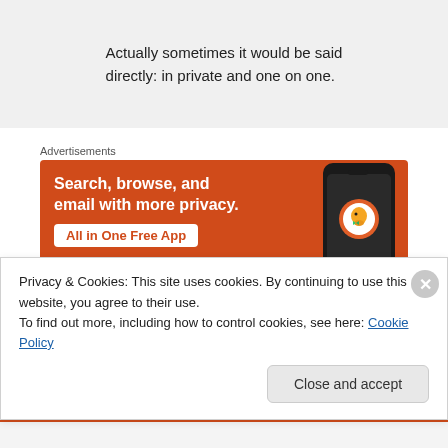Actually sometimes it would be said directly: in private and one on one.
Advertisements
[Figure (screenshot): DuckDuckGo advertisement banner: orange background with white bold text 'Search, browse, and email with more privacy.' and a white CTA button 'All in One Free App', with a phone mockup on the right showing the DuckDuckGo app logo.]
The Truth Matters on August 2, 2014 at 1:49 pm
Privacy & Cookies: This site uses cookies. By continuing to use this website, you agree to their use.
To find out more, including how to control cookies, see here: Cookie Policy